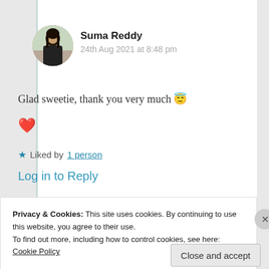[Figure (photo): Circular avatar photo of Suma Reddy, a woman with dark hair]
Suma Reddy
24th Aug 2021 at 8:48 pm
Glad sweetie, thank you very much 😇
❤️
Liked by 1 person
Log in to Reply
Privacy & Cookies: This site uses cookies. By continuing to use this website, you agree to their use.
To find out more, including how to control cookies, see here: Cookie Policy
Close and accept